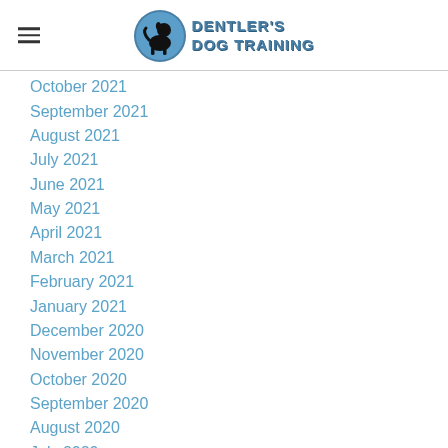Dentler's Dog Training
October 2021
September 2021
August 2021
July 2021
June 2021
May 2021
April 2021
March 2021
February 2021
January 2021
December 2020
November 2020
October 2020
September 2020
August 2020
July 2020
June 2020